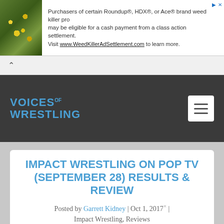[Figure (screenshot): Advertisement banner: image of yellow flowers on rocks on the left; text about Roundup, HDX, Ace brand weed killer class action settlement, directing to www.WeedKillerAdSettlement.com]
Purchasers of certain Roundup®, HDX®, or Ace® brand weed killer products may be eligible for a cash payment from a class action settlement. Visit www.WeedKillerAdSettlement.com to learn more.
[Figure (screenshot): Navigation collapse chevron bar with up-arrow caret on light gray background]
[Figure (logo): Voices of Wrestling site logo in blue on dark gray header background, with hamburger menu button on the right]
IMPACT WRESTLING ON POP TV (SEPTEMBER 28) RESULTS & REVIEW
Posted by Garrett Kidney | Oct 1, 2017 | Impact Wrestling, Reviews